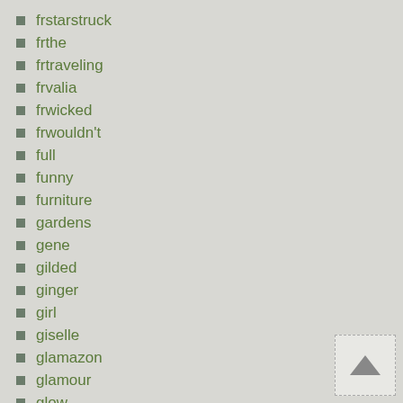frstarstruck
frthe
frtraveling
frvalia
frwicked
frwouldn't
full
funny
furniture
gardens
gene
gilded
ginger
girl
giselle
glamazon
glamour
glow
gold